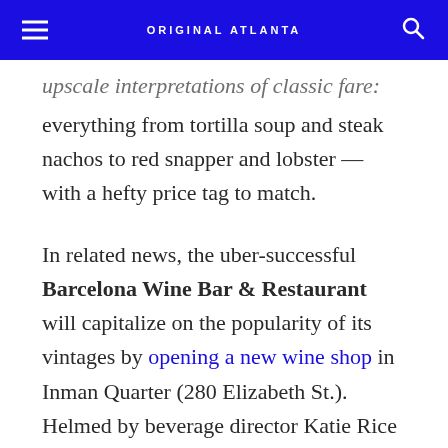ORIGINAL ATLANTA
upscale interpretations of classic fare: everything from tortilla soup and steak nachos to red snapper and lobster — with a hefty price tag to match.
In related news, the uber-successful Barcelona Wine Bar & Restaurant will capitalize on the popularity of its vintages by opening a new wine shop in Inman Quarter (280 Elizabeth St.). Helmed by beverage director Katie Rice and slated to